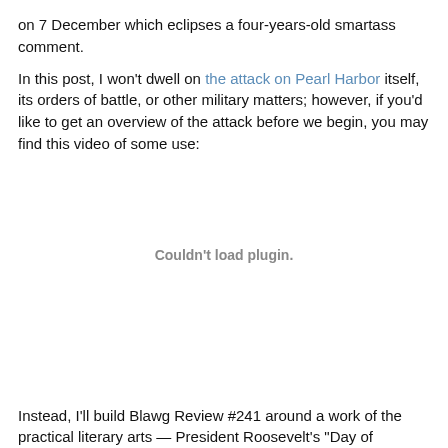on 7 December which eclipses a four-years-old smartass comment.
In this post, I won't dwell on the attack on Pearl Harbor itself, its orders of battle, or other military matters; however, if you'd like to get an overview of the attack before we begin, you may find this video of some use:
[Figure (other): Video embed placeholder showing 'Couldn't load plugin.']
Instead, I'll build Blawg Review #241 around a work of the practical literary arts — President Roosevelt's "Day of